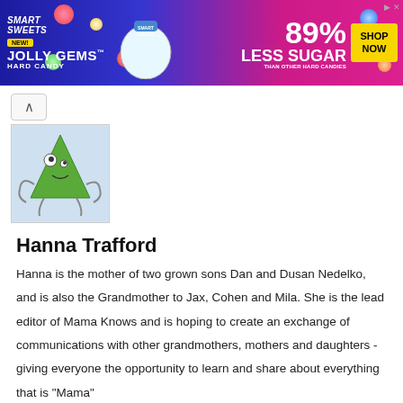[Figure (illustration): Smart Sweets Jolly Gems Hard Candy advertisement banner with colorful candy imagery, 89% Less Sugar claim, and Shop Now button]
[Figure (illustration): Illustrated cartoon character: a green triangle shape with a face, eyes, and stick-like limbs on a light blue background]
Hanna Trafford
Hanna is the mother of two grown sons Dan and Dusan Nedelko, and is also the Grandmother to Jax, Cohen and Mila. She is the lead editor of Mama Knows and is hoping to create an exchange of communications with other grandmothers, mothers and daughters - giving everyone the opportunity to learn and share about everything that is "Mama"